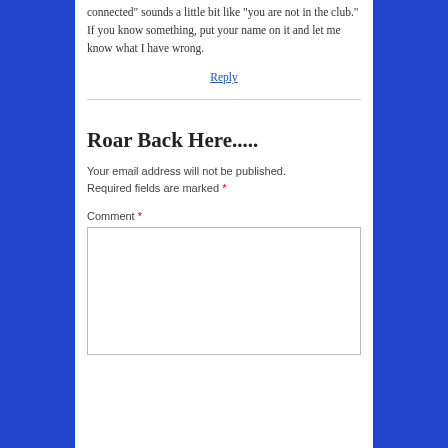connected" sounds a little bit like "you are not in the club." If you know something, put your name on it and let me know what I have wrong.
Reply
Roar Back Here.....
Your email address will not be published. Required fields are marked *
Comment *